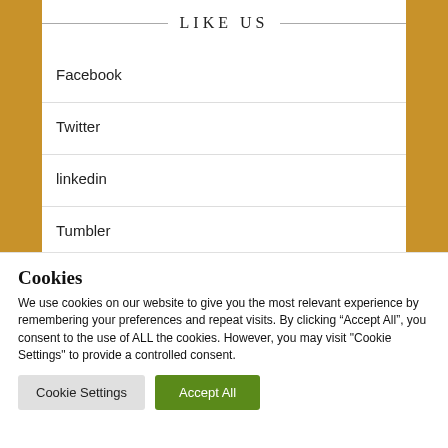LIKE US
Facebook
Twitter
linkedin
Tumbler
Cookies
We use cookies on our website to give you the most relevant experience by remembering your preferences and repeat visits. By clicking “Accept All”, you consent to the use of ALL the cookies. However, you may visit "Cookie Settings" to provide a controlled consent.
Cookie Settings | Accept All